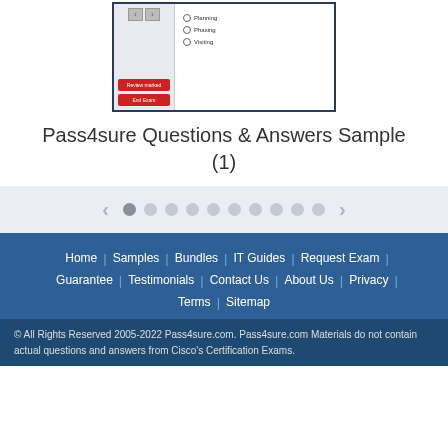[Figure (screenshot): Screenshot of a quiz/exam interface with navigation buttons, radio button options (Planning, Phasing, Visiting), Review marked and End Exam red buttons on the left panel]
Pass4sure Questions & Answers Sample (1)
[Figure (other): Carousel navigation with left arrow, 10 dots (first active), and right arrow on light grey background]
Home
Samples
Bundles
IT Guides
Request Exam
Guarantee
Testimonials
Contact Us
About Us
Privacy
Terms
Sitemap
© All Rights Reserved 2005-2022 Pass4sure.com. Pass4sure.com Materials do not contain actual questions and answers from Cisco's Certification Exams.